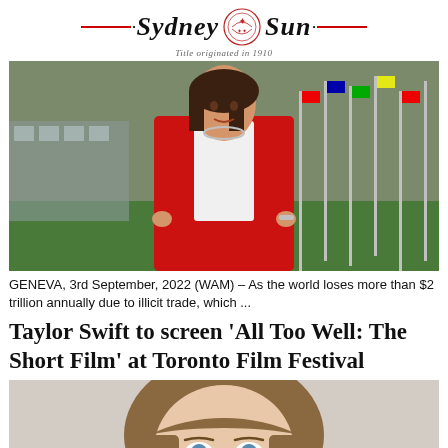Sydney Sun — Title originated in 1910
[Figure (photo): Woman in red blazer and red trousers standing in front of flagpoles at an international venue, likely a UN building in Geneva]
GENEVA, 3rd September, 2022 (WAM) – As the world loses more than $2 trillion annually due to illicit trade, which ...
Taylor Swift to screen 'All Too Well: The Short Film' at Toronto Film Festival
[Figure (photo): Close-up photo of Taylor Swift with brown bangs, looking forward]